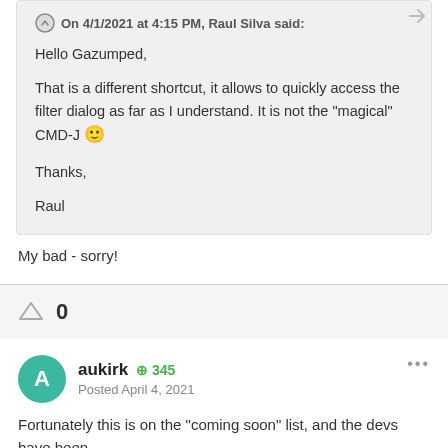On 4/1/2021 at 4:15 PM, Raul Silva said:
Hello Gazumped,

That is a different shortcut, it allows to quickly access the filter dialog as far as I understand. It is not the "magical" CMD-J 🙂

Thanks,

Raul
My bad - sorry!
0
aukirk  +345
Posted April 4, 2021
Fortunately this is on the "coming soon" list, and the devs have been